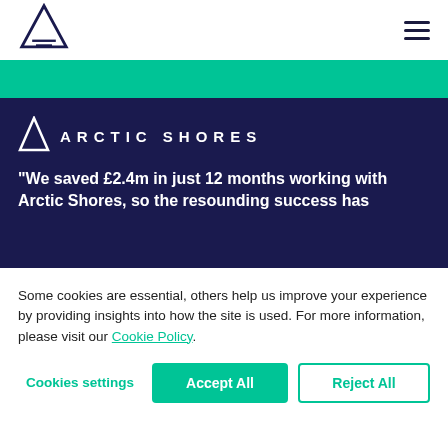[Figure (logo): Arctic Shores triangular logo in navy outline at top left navigation bar]
[Figure (logo): Hamburger menu icon (three horizontal lines) at top right]
[Figure (logo): Arctic Shores logo (small white triangle outline) in dark navy section]
ARCTIC SHORES
“We saved £2.4m in just 12 months working with Arctic Shores, so the resounding success has
Some cookies are essential, others help us improve your experience by providing insights into how the site is used. For more information, please visit our Cookie Policy.
Cookies settings
Accept All
Reject All